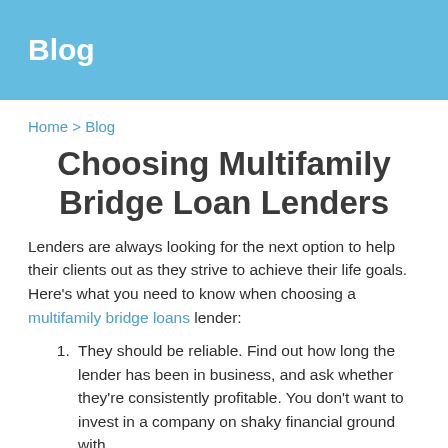Blog
Home > Blog
Choosing Multifamily Bridge Loan Lenders
Lenders are always looking for the next option to help their clients out as they strive to achieve their life goals. Here's what you need to know when choosing a multifamily bridge loans lender:
They should be reliable. Find out how long the lender has been in business, and ask whether they're consistently profitable. You don't want to invest in a company on shaky financial ground with